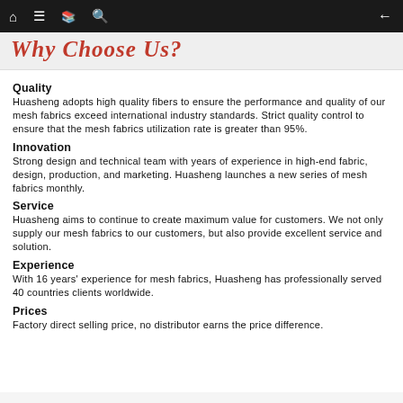Navigation bar with home, menu, book, search icons and back arrow
Why Choose Us?
Quality
Huasheng adopts high quality fibers to ensure the performance and quality of our mesh fabrics exceed international industry standards. Strict quality control to ensure that the mesh fabrics utilization rate is greater than 95%.
Innovation
Strong design and technical team with years of experience in high-end fabric, design, production, and marketing. Huasheng launches a new series of mesh fabrics monthly.
Service
Huasheng aims to continue to create maximum value for customers. We not only supply our mesh fabrics to our customers, but also provide excellent service and solution.
Experience
With 16 years' experience for mesh fabrics, Huasheng has professionally served 40 countries clients worldwide.
Prices
Factory direct selling price, no distributor earns the price difference.